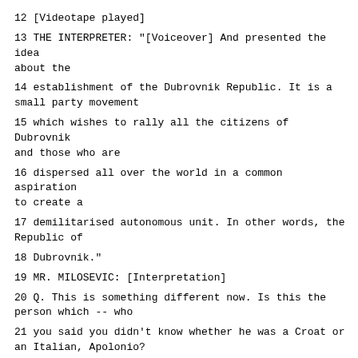12 [Videotape played]
13 THE INTERPRETER: "[Voiceover] And presented the idea about the
14 establishment of the Dubrovnik Republic. It is a small party movement
15 which wishes to rally all the citizens of Dubrovnik and those who are
16 dispersed all over the world in a common aspiration to create a
17 demilitarised autonomous unit. In other words, the Republic of
18 Dubrovnik."
19 MR. MILOSEVIC: [Interpretation]
20 Q. This is something different now. Is this the person which -- who
21 you said you didn't know whether he was a Croat or an Italian, Apolonio?
22 A. Yes, it's Aleksandar Apolonio.
23 Q. Thank you, Professor Kostic.